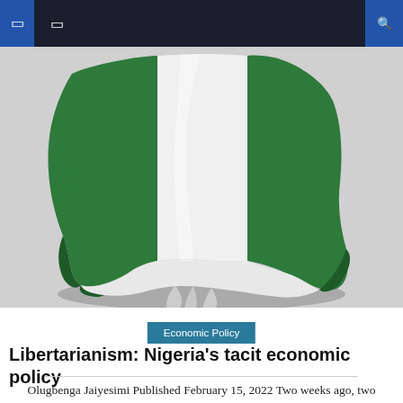Navigation bar with menu icons and search
[Figure (photo): 3D render of Nigeria map in the colors of the Nigerian flag — green on left and right, white in center, with shadow beneath giving a 3D lifted effect]
Economic Policy
Libertarianism: Nigeria's tacit economic policy
Olugbenga Jaiyesimi Published February 15, 2022 Two weeks ago, two interesting articles appeared. The first of a group, Arewa Youth Assembly, calling on private sector actors to join the 2023 presidential race. This is surprising because the call comes from a region whose government affairs we say